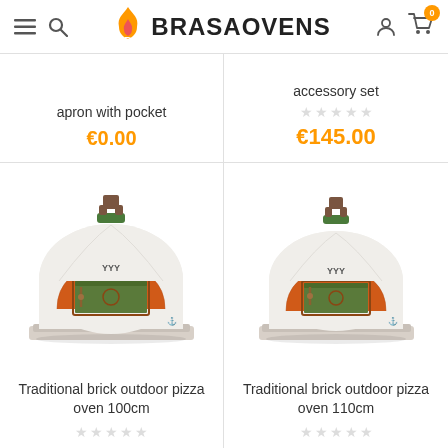BRASAOVENS
apron with pocket
€0.00
accessory set
€145.00
[Figure (photo): Traditional brick outdoor pizza oven 100cm product image]
Traditional brick outdoor pizza oven 100cm
[Figure (photo): Traditional brick outdoor pizza oven 110cm product image]
Traditional brick outdoor pizza oven 110cm